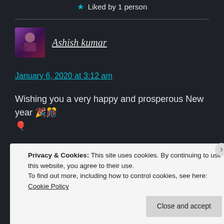★ Liked by 1 person
[Figure (photo): Avatar photo of Ashish kumar, dark purple/red tones, person sitting]
Ashish kumar
January 6, 2020 at 3:12 am
Wishing you a very happy and prosperous New year 🎉🎊 🎈
★ Liked by 1 person
Privacy & Cookies: This site uses cookies. By continuing to use this website, you agree to their use. To find out more, including how to control cookies, see here: Cookie Policy
Close and accept